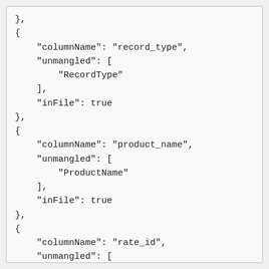},
{
    "columnName": "record_type",
    "unmangled": [
        "RecordType"
    ],
    "inFile": true
},
{
    "columnName": "product_name",
    "unmangled": [
        "ProductName"
    ],
    "inFile": true
},
{
    "columnName": "rate_id",
    "unmangled": [
        "RateId"
    ],
},